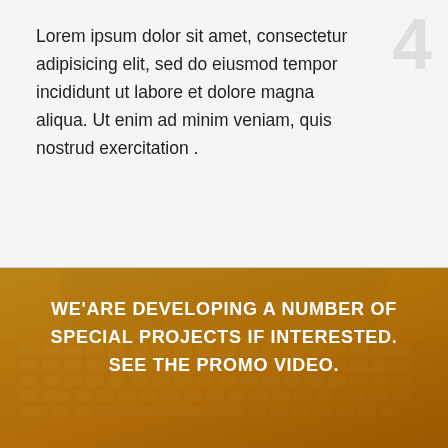Lorem ipsum dolor sit amet, consectetur adipisicing elit, sed do eiusmod tempor incididunt ut labore et dolore magna aliqua. Ut enim ad minim veniam, quis nostrud exercitation .
[Figure (photo): Laptop keyboard viewed from above with an amber/golden color overlay. White bold text overlay reads: WE'ARE DEVELOPING A NUMBER OF SPECIAL PROJECTS IF INTERESTED. SEE THE PROMO VIDEO.]
WE'ARE DEVELOPING A NUMBER OF SPECIAL PROJECTS IF INTERESTED. SEE THE PROMO VIDEO.